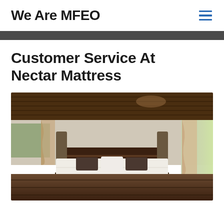We Are MFEO
Customer Service At Nectar Mattress
[Figure (photo): A bedroom interior with a low platform bed with white bedding and dark decorative pillows, wooden plank ceiling, white walls, woven cylindrical floor lamps on either side of the bed, sheer curtains on windows, and a decorative bird ornament on the bed.]